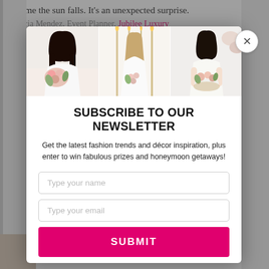the time the sun falls. It's an unexpected surprise.
Phylicia Mendez, Event Planner, Jubilee Luxury...
[Figure (photo): Three photos of women with wedding flowers: a smiling Black woman holding a bouquet, a bride in white holding a small bouquet near tall candles, and an Asian woman arranging a floral display.]
SUBSCRIBE TO OUR NEWSLETTER
Get the latest fashion trends and décor inspiration, plus enter to win fabulous prizes and honeymoon getaways!
Type your name
Type your email
SUBMIT